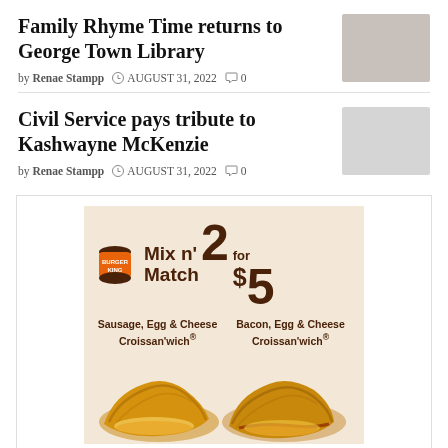Family Rhyme Time returns to George Town Library
by Renae Stampp  AUGUST 31, 2022  0
Civil Service pays tribute to Kashwayne McKenzie
by Renae Stampp  AUGUST 31, 2022  0
[Figure (photo): Burger King advertisement: Mix n' Match 2 for $5. Sausage, Egg & Cheese Croissan'wich and Bacon, Egg & Cheese Croissan'wich. Shows two croissant sandwiches on a cream background with brown branding.]